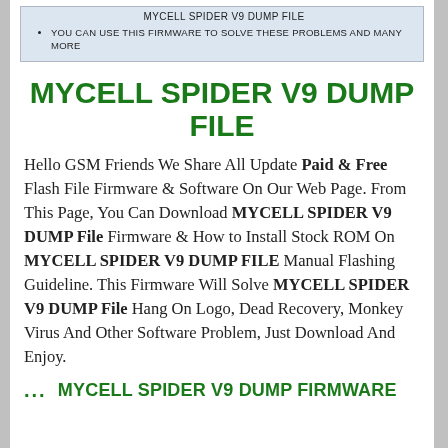MYCELL SPIDER V9 DUMP FILE
YOU CAN USE THIS FIRMWARE TO SOLVE THESE PROBLEMS AND MANY MORE
MYCELL SPIDER V9 DUMP FILE
Hello GSM Friends We Share All Update Paid & Free Flash File Firmware & Software On Our Web Page. From This Page, You Can Download MYCELL SPIDER V9 DUMP File Firmware & How to Install Stock ROM On MYCELL SPIDER V9 DUMP FILE Manual Flashing Guideline. This Firmware Will Solve MYCELL SPIDER V9 DUMP File Hang On Logo, Dead Recovery, Monkey Virus And Other Software Problem, Just Download And Enjoy.
... MYCELL SPIDER V9 DUMP FIRMWARE